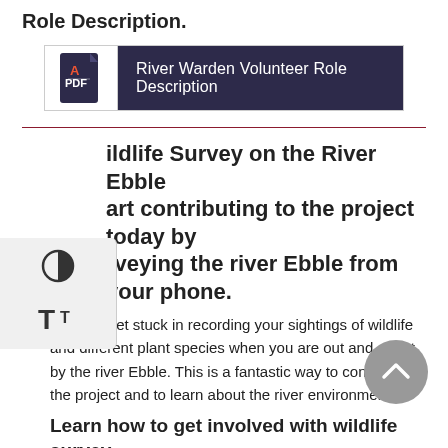Role Description.
[Figure (other): PDF document link box with dark navy background reading 'River Warden Volunteer Role Description' with a PDF icon on the left]
ildlife Survey on the River Ebble
art contributing to the project today by
rveying the river Ebble from your phone.
You can get stuck in recording your sightings of wildlife and different plant species when you are out and about by the river Ebble. This is a fantastic way to contribute to the project and to learn about the river environment.
Learn how to get involved with wildlife survey